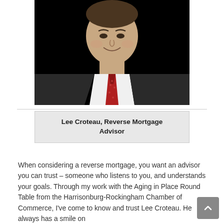[Figure (photo): Professional headshot of Lee Croteau, a man in a dark suit and red tie, smiling, against a black background.]
Lee Croteau, Reverse Mortgage Advisor
When considering a reverse mortgage, you want an advisor you can trust – someone who listens to you, and understands your goals. Through my work with the Aging in Place Round Table from the Harrisonburg-Rockingham Chamber of Commerce, I've come to know and trust Lee Croteau. He always has a smile on